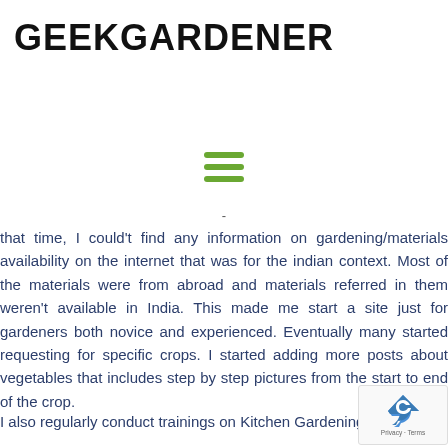GEEKGARDENER
[Figure (other): Hamburger menu icon with three green horizontal lines]
- that time, I could't find any information on gardening/materials availability on the internet that was for the indian context. Most of the materials were from abroad and materials referred in them weren't available in India. This made me start a site just for gardeners both novice and experienced. Eventually many started requesting for specific crops. I started adding more posts about vegetables that includes step by step pictures from the start to end of the crop.
I also regularly conduct trainings on Kitchen Gardening/Terrace